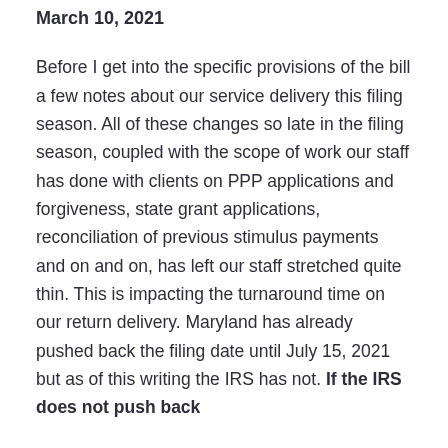March 10, 2021
Before I get into the specific provisions of the bill a few notes about our service delivery this filing season. All of these changes so late in the filing season, coupled with the scope of work our staff has done with clients on PPP applications and forgiveness, state grant applications, reconciliation of previous stimulus payments and on and on, has left our staff stretched quite thin. This is impacting the turnaround time on our return delivery. Maryland has already pushed back the filing date until July 15, 2021 but as of this writing the IRS has not. If the IRS does not push back